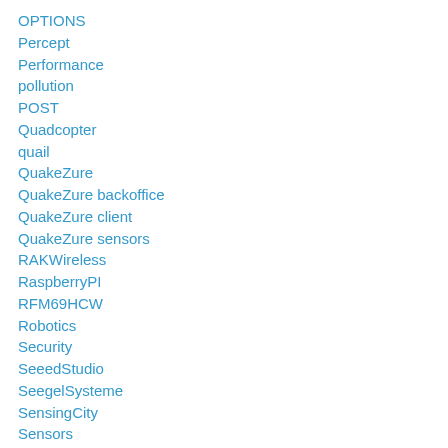OPTIONS
Percept
Performance
pollution
POST
Quadcopter
quail
QuakeZure
QuakeZure backoffice
QuakeZure client
QuakeZure sensors
RAKWireless
RaspberryPI
RFM69HCW
Robotics
Security
SeeedStudio
SeegelSysteme
SensingCity
Sensors